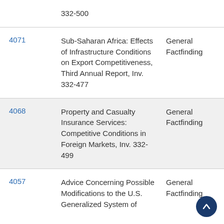| Publication No. | Title | Type |
| --- | --- | --- |
| 332-500 |  |  |
| 4071 | Sub-Saharan Africa: Effects of Infrastructure Conditions on Export Competitiveness, Third Annual Report, Inv. 332-477 | General Factfinding |
| 4068 | Property and Casualty Insurance Services: Competitive Conditions in Foreign Markets, Inv. 332-499 | General Factfinding |
| 4057 | Advice Concerning Possible Modifications to the U.S. Generalized System of | General Factfinding |